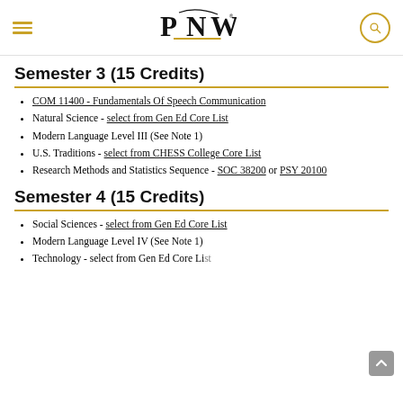PNW
Semester 3 (15 Credits)
COM 11400 - Fundamentals Of Speech Communication
Natural Science - select from Gen Ed Core List
Modern Language Level III (See Note 1)
U.S. Traditions - select from CHESS College Core List
Research Methods and Statistics Sequence - SOC 38200 or PSY 20100
Semester 4 (15 Credits)
Social Sciences - select from Gen Ed Core List
Modern Language Level IV (See Note 1)
Technology - select from Gen Ed Core List